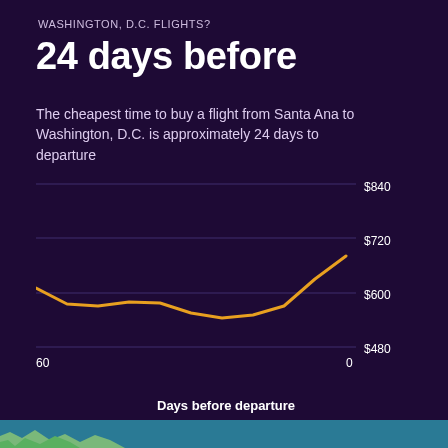WASHINGTON, D.C. FLIGHTS?
24 days before
The cheapest time to buy a flight from Santa Ana to Washington, D.C. is approximately 24 days to departure
[Figure (line-chart): Days before departure vs. price]
[Figure (map): Map strip at bottom of page showing geographic area]